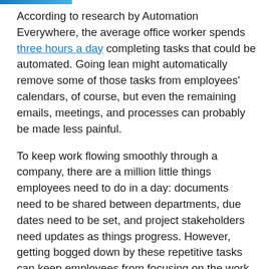According to research by Automation Everywhere, the average office worker spends three hours a day completing tasks that could be automated. Going lean might automatically remove some of those tasks from employees' calendars, of course, but even the remaining emails, meetings, and processes can probably be made less painful.
To keep work flowing smoothly through a company, there are a million little things employees need to do in a day: documents need to be shared between departments, due dates need to be set, and project stakeholders need updates as things progress. However, getting bogged down by these repetitive tasks can keep employees from focusing on the work that matters. That's where automation comes in.